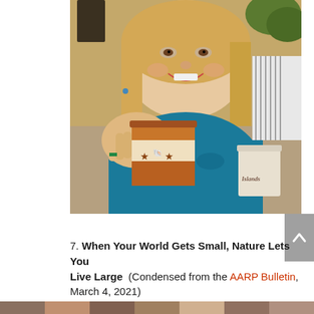[Figure (photo): A smiling middle-aged woman with blonde hair, wearing a teal/blue top and black scarf, holding a decorative brown ceramic mug with star and shell designs toward the camera. In the background to the right is another mug labeled 'Islands'. The setting appears to be a restaurant or café.]
7. When Your World Gets Small, Nature Lets You Live Large (Condensed from the AARP Bulletin, March 4, 2021)